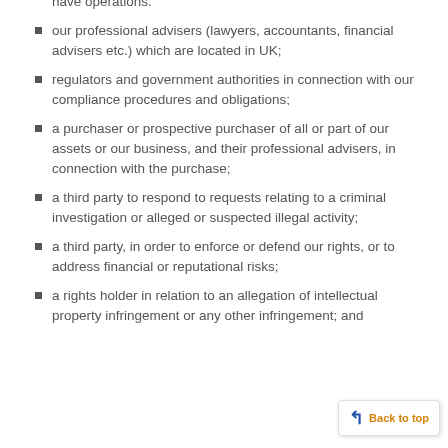access such information from other countries in which they have operations.
our professional advisers (lawyers, accountants, financial advisers etc.) which are located in UK;
regulators and government authorities in connection with our compliance procedures and obligations;
a purchaser or prospective purchaser of all or part of our assets or our business, and their professional advisers, in connection with the purchase;
a third party to respond to requests relating to a criminal investigation or alleged or suspected illegal activity;
a third party, in order to enforce or defend our rights, or to address financial or reputational risks;
a rights holder in relation to an allegation of intellectual property infringement or any other infringement; and